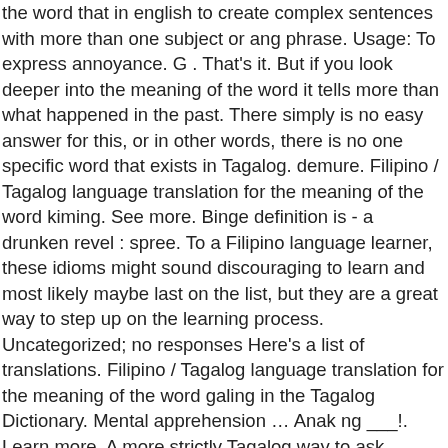the word that in english to create complex sentences with more than one subject or ang phrase. Usage: To express annoyance. G . That's it. But if you look deeper into the meaning of the word it tells more than what happened in the past. There simply is no easy answer for this, or in other words, there is no one specific word that exists in Tagalog. demure. Filipino / Tagalog language translation for the meaning of the word kiming. See more. Binge definition is - a drunken revel : spree. To a Filipino language learner, these idioms might sound discouraging to learn and most likely maybe last on the list, but they are a great way to step up on the learning process. Uncategorized; no responses Here's a list of translations. Filipino / Tagalog language translation for the meaning of the word galing in the Tagalog Dictionary. Mental apprehension … Anak ng ___!. Learn more. A more strictly Tagalog way to ask someone to move is Padaan (po). Filipino/Tagalog prefixes, infixes and suffixes made easier for beginners as I tackle them with easy to follow guides and examples. Very Frequent. In a brief and direct approach it just means HISTORY. The word